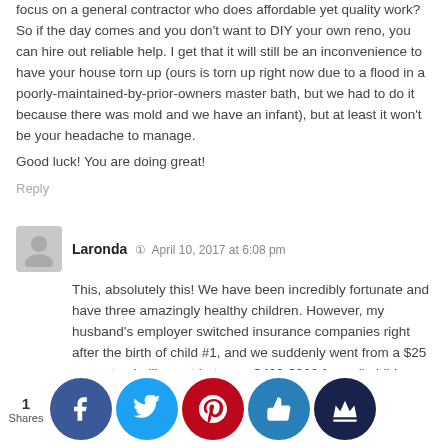focus on a general contractor who does affordable yet quality work? So if the day comes and you don't want to DIY your own reno, you can hire out reliable help. I get that it will still be an inconvenience to have your house torn up (ours is torn up right now due to a flood in a poorly-maintained-by-prior-owners master bath, but we had to do it because there was mold and we have an infant), but at least it won't be your headache to manage.
Good luck! You are doing great!
Reply
Laronda  April 10, 2017 at 6:08 pm
This, absolutely this! We have been incredibly fortunate and have three amazingly healthy children. However, my husband's employer switched insurance companies right after the birth of child #1, and we suddenly went from a $25 copay to shelling out between $400-$900 for well-child checkups with immunizations. We can pull it off on one income because they are all insanely healthy and we live in a f home $620 m e–quite ough fo s othe attest d the n valu
1 Shares